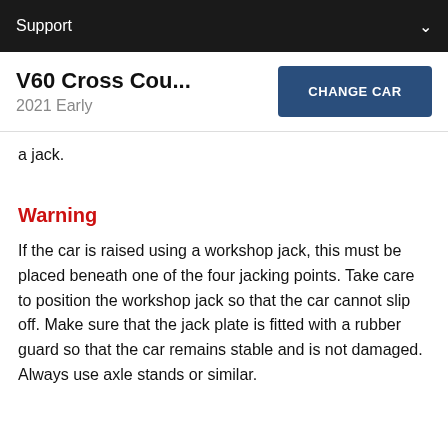Support
V60 Cross Cou... 2021 Early
a jack.
Warning
If the car is raised using a workshop jack, this must be placed beneath one of the four jacking points. Take care to position the workshop jack so that the car cannot slip off. Make sure that the jack plate is fitted with a rubber guard so that the car remains stable and is not damaged. Always use axle stands or similar.